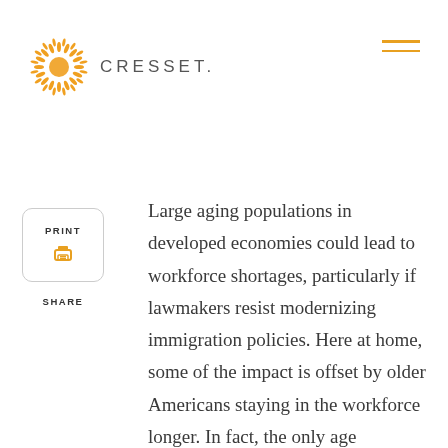[Figure (logo): Cresset logo with orange sunburst icon and CRESSET. text in grey]
PRINT
SHARE
Large aging populations in developed economies could lead to workforce shortages, particularly if lawmakers resist modernizing immigration policies. Here at home, some of the impact is offset by older Americans staying in the workforce longer. In fact, the only age categories where labor participation has increased over the last 20 years are 55 years old and up. Innovation and robotics could fill gaps in